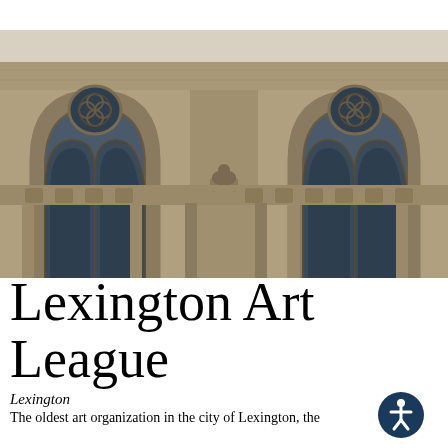[Figure (photo): Gothic cathedral facade with pointed arched windows featuring tracery and dark stained glass, stone masonry architecture]
Lexington Art League
Lexington
The oldest art organization in the city of Lexington, the